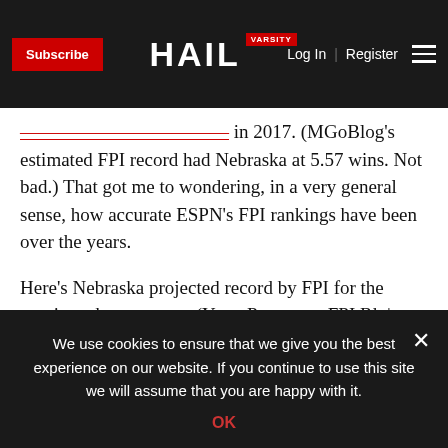Subscribe | HAIL VARSITY | Log In | Register
in 2017. (MGoBlog's estimated FPI record had Nebraska at 5.57 wins. Not bad.) That got me to wondering, in a very general sense, how accurate ESPN's FPI rankings have been over the years.
Here's Nebraska projected record by FPI for the previous three seasons (Year: Preseason FPI Rk | Projected Record | Actual Record | Final FPI Rk):
2016: 25 | 8.9-3.5 | 9-3 | 48
2015: 43 | 7.7-4.5 | 5-7 | 39
2014: 41 | 7.7-4.4 | 9-3 | 28
We use cookies to ensure that we give you the best experience on our website. If you continue to use this site we will assume that you are happy with it.